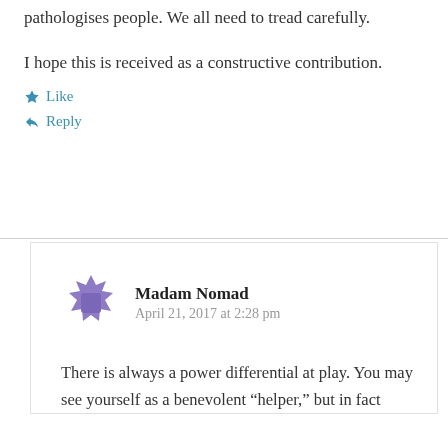pathologises people. We all need to tread carefully.
I hope this is received as a constructive contribution.
Like
Reply
Madam Nomad
April 21, 2017 at 2:28 pm
There is always a power differential at play. You may see yourself as a benevolent “helper,” but in fact